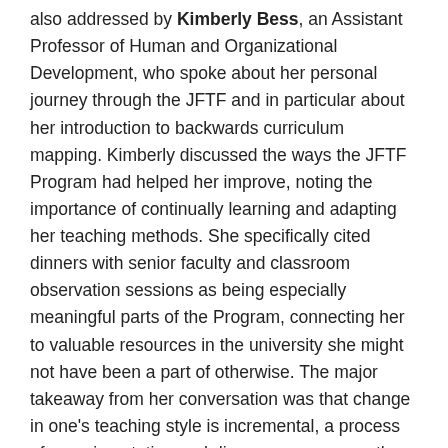also addressed by Kimberly Bess, an Assistant Professor of Human and Organizational Development, who spoke about her personal journey through the JFTF and in particular about her introduction to backwards curriculum mapping. Kimberly discussed the ways the JFTF Program had helped her improve, noting the importance of continually learning and adapting her teaching methods. She specifically cited dinners with senior faculty and classroom observation sessions as being especially meaningful parts of the Program, connecting her to valuable resources in the university she might not have been a part of otherwise. The major takeaway from her conversation was that change in one's teaching style is incremental, a process of experimentation and discovery, a process the JFTF Program helped her with over the course of her participation.
The final presentation delivered by Jonathan Rattner, an